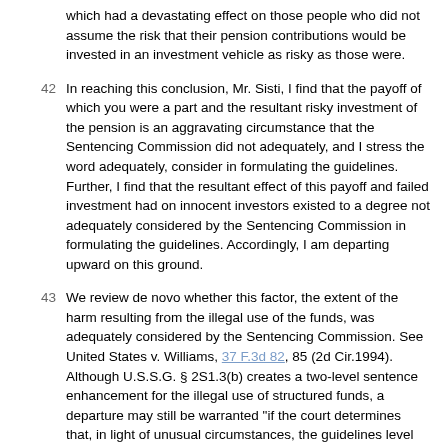which had a devastating effect on those people who did not assume the risk that their pension contributions would be invested in an investment vehicle as risky as those were.
42  In reaching this conclusion, Mr. Sisti, I find that the payoff of which you were a part and the resultant risky investment of the pension is an aggravating circumstance that the Sentencing Commission did not adequately, and I stress the word adequately, consider in formulating the guidelines. Further, I find that the resultant effect of this payoff and failed investment had on innocent investors existed to a degree not adequately considered by the Sentencing Commission in formulating the guidelines. Accordingly, I am departing upward on this ground.
43  We review de novo whether this factor, the extent of the harm resulting from the illegal use of the funds, was adequately considered by the Sentencing Commission. See United States v. Williams, 37 F.3d 82, 85 (2d Cir.1994). Although U.S.S.G. § 2S1.3(b) creates a two-level sentence enhancement for the illegal use of structured funds, a departure may still be warranted "if the court determines that, in light of unusual circumstances, the guidelines level attached to that factor is inadequate." U.S.S.G. § 5K2.0, Application note 1 & n U.S.C. § 3551 specifically